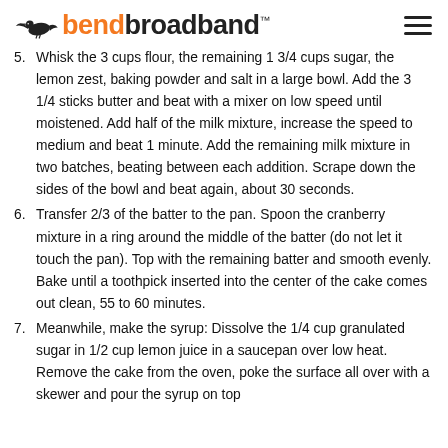bendbroadband
5. Whisk the 3 cups flour, the remaining 1 3/4 cups sugar, the lemon zest, baking powder and salt in a large bowl. Add the 3 1/4 sticks butter and beat with a mixer on low speed until moistened. Add half of the milk mixture, increase the speed to medium and beat 1 minute. Add the remaining milk mixture in two batches, beating between each addition. Scrape down the sides of the bowl and beat again, about 30 seconds.
6. Transfer 2/3 of the batter to the pan. Spoon the cranberry mixture in a ring around the middle of the batter (do not let it touch the pan). Top with the remaining batter and smooth evenly. Bake until a toothpick inserted into the center of the cake comes out clean, 55 to 60 minutes.
7. Meanwhile, make the syrup: Dissolve the 1/4 cup granulated sugar in 1/2 cup lemon juice in a saucepan over low heat. Remove the cake from the oven, poke the surface all over with a skewer and pour the syrup on top